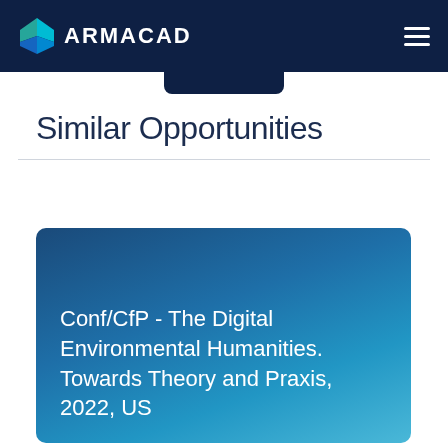ARMACAD
Similar Opportunities
Conf/CfP - The Digital Environmental Humanities. Towards Theory and Praxis, 2022, US